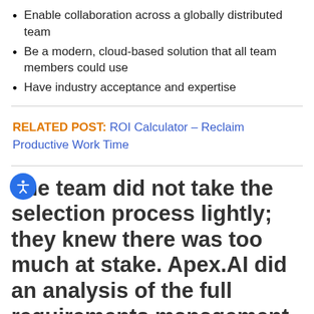Enable collaboration across a globally distributed team
Be a modern, cloud-based solution that all team members could use
Have industry acceptance and expertise
RELATED POST: ROI Calculator – Reclaim Productive Work Time
The team did not take the selection process lightly; they knew there was too much at stake. Apex.AI did an analysis of the full requirements management tools and software market